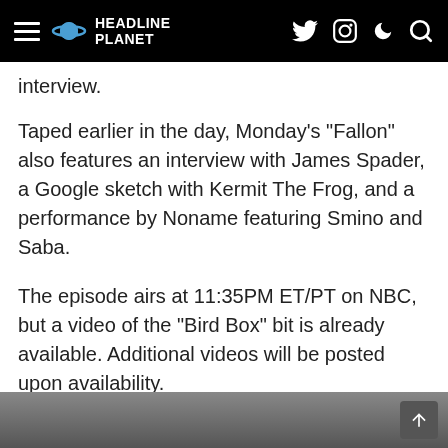HEADLINE PLANET
interview.
Taped earlier in the day, Monday’s “Fallon” also features an interview with James Spader, a Google sketch with Kermit The Frog, and a performance by Noname featuring Smino and Saba.
The episode airs at 11:35PM ET/PT on NBC, but a video of the “Bird Box” bit is already available. Additional videos will be posted upon availability.
Photos from the taping are also embedded.
[Figure (photo): Partial photo strip at the bottom of the page showing a person, cropped view.]